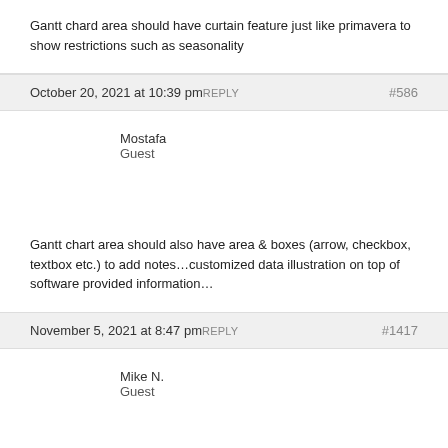Gantt chard area should have curtain feature just like primavera to show restrictions such as seasonality
October 20, 2021 at 10:39 pm REPLY #586
Mostafa
Guest
Gantt chart area should also have area & boxes (arrow, checkbox, textbox etc.) to add notes…customized data illustration on top of software provided information…
November 5, 2021 at 8:47 pm REPLY #1417
Mike N.
Guest